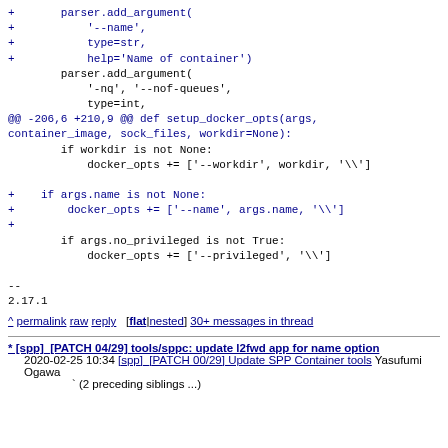+       parser.add_argument(
+           '--name',
+           type=str,
+           help='Name of container')
        parser.add_argument(
            '-nq', '--nof-queues',
            type=int,
@@ -206,6 +210,9 @@ def setup_docker_opts(args, container_image, sock_files, workdir=None):
        if workdir is not None:
            docker_opts += ['--workdir', workdir, '\\']

+    if args.name is not None:
+        docker_opts += ['--name', args.name, '\\']
+
        if args.no_privileged is not True:
            docker_opts += ['--privileged', '\\']

--
2.17.1
^ permalink raw reply  [flat|nested] 30+ messages in thread
* [spp]_[PATCH 04/29] tools/sppc: update l2fwd app for name option
   2020-02-25 10:34 [spp]_[PATCH 00/29] Update SPP Container tools Yasufumi Ogawa
                  ` (2 preceding siblings ...)